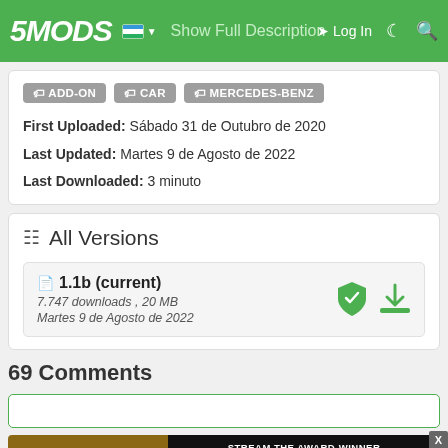5MODS — Show Full Description — Log In
ADD-ON
CAR
MERCEDES-BENZ
First Uploaded: Sábado 31 de Outubro de 2020
Last Updated: Martes 9 de Agosto de 2022
Last Downloaded: 3 minuto
All Versions
1.1b (current)
7.747 downloads , 20 MB
Martes 9 de Agosto de 2022
69 Comments
[Figure (screenshot): Advertisement banner: Belfast movie ad on left, HBO Max subscription offer on right with 'Stream the Award-Winner' text and '$9/month' pricing]